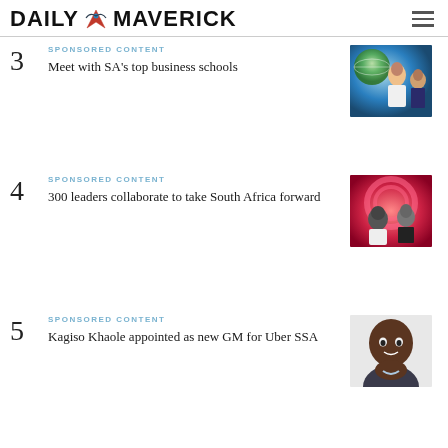DAILY MAVERICK
3 | SPONSORED CONTENT | Meet with SA's top business schools
4 | SPONSORED CONTENT | 300 leaders collaborate to take South Africa forward
5 | SPONSORED CONTENT | Kagiso Khaole appointed as new GM for Uber SSA